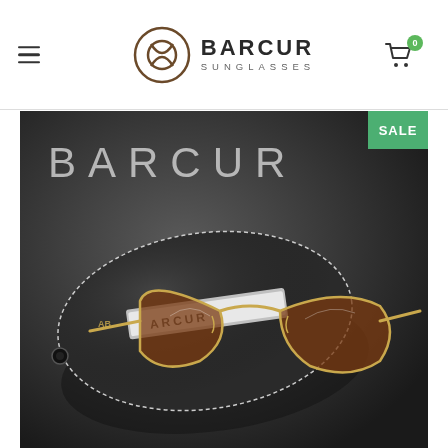BARCUR SUNGLASSES — Navigation header with hamburger menu and cart icon showing 0 items
[Figure (photo): Product photo of a Barcur sunglasses case (black textured hard case with silver ARCUR label band) alongside gold-framed aviator sunglasses with brown lenses, on a dark background. Text 'BARCUR' in large letters top-left. Green SALE badge top-right.]